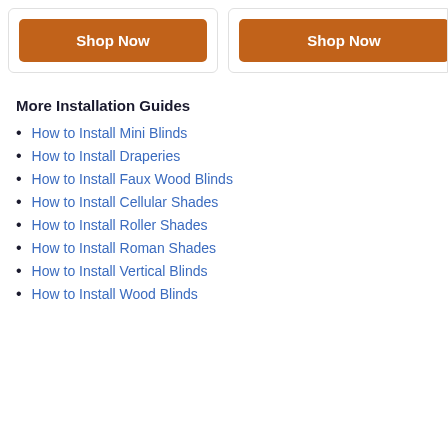[Figure (other): Shop Now button (left card)]
[Figure (other): Shop Now button (right card, partially visible)]
More Installation Guides
How to Install Mini Blinds
How to Install Draperies
How to Install Faux Wood Blinds
How to Install Cellular Shades
How to Install Roller Shades
How to Install Roman Shades
How to Install Vertical Blinds
How to Install Wood Blinds